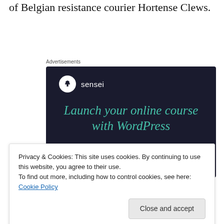of Belgian resistance courier Hortense Clews.
[Figure (other): Sensei advertisement: Dark navy background with Sensei logo (tree icon in white circle), text 'Launch your online course with WordPress' in teal italic, and a teal 'Learn More' button.]
Privacy & Cookies: This site uses cookies. By continuing to use this website, you agree to their use.
To find out more, including how to control cookies, see here: Cookie Policy
Close and accept